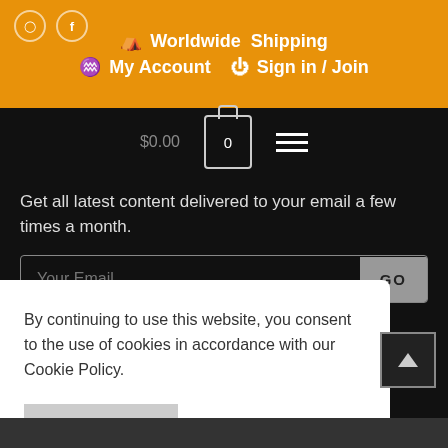Worldwide Shipping  My Account  Sign in / Join
$0.00  0
Get all latest content delivered to your email a few times a month.
Your Email  GO
Like Us On Facebook!
By continuing to use this website, you consent to the use of cookies in accordance with our Cookie Policy.
ACCEPT